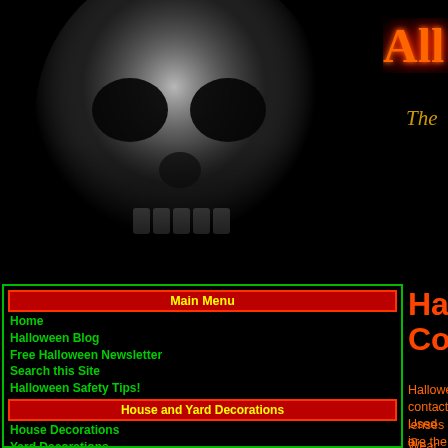[Figure (illustration): Glowing skull image on dark black background, left side header area]
All About H
The
Halloween Contact Lense
Main Menu
Home
Halloween Blog
Free Halloween Newsletter
Search this Site
Halloween Safety Tips!
House and Yard Decorations
House Decorations
Yard Decorations
Graveyard
Cobwebs
Pumpkins
House Decoration Idea
Music and Sounds
Halloween Sounds
Stephen Lynch Halloween
Halloween Recipes
Halloween contact lenses are the perfect finishing touch to complete the outfit you have chosen for the big party!
Used in movies and theatre productions for special effects, crazy contact lenses can change how you look in seconds.
Wear them out for a night on the town, or wear them to match yo